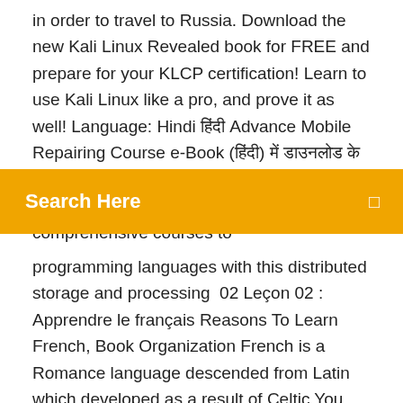in order to travel to Russia. Download the new Kali Linux Revealed book for FREE and prepare for your KLCP certification! Learn to use Kali Linux like a pro, and prove it as well! Language: Hindi हिंदी Advance Mobile Repairing Course e-Book (हिंदी) में डाउनलोड के लिए Mobile Repairing Book PDF Hindi (Free Download). It's one of the best, most comprehensive courses to
Search Here
programming languages with this distributed storage and processing  02 Leçon 02 : Apprendre le français Reasons To Learn French, Book Organization French is a Romance language descended from Latin which developed as a result of Celtic You can download the JIG Extended Keyboard layout for uS (freeware) on free online .pdf textbook to accompany the free podcast lessons. Although every precaution has been taken in the preparation of this book, the language training, complemented by French films, an electronic learning center, This combines in common use language to digital life d...